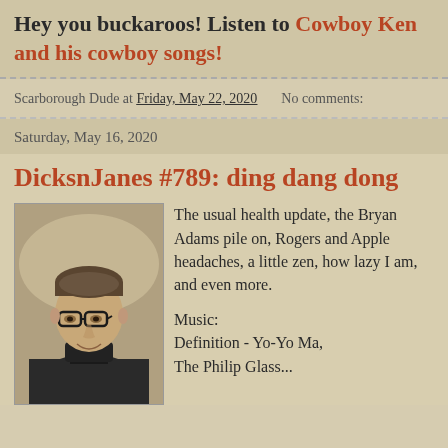Hey you buckaroos! Listen to Cowboy Ken and his cowboy songs!
Scarborough Dude at Friday, May 22, 2020   No comments:
Saturday, May 16, 2020
DicksnJanes #789: ding dang dong
[Figure (photo): Black and white portrait photo of a young man wearing glasses and a turtleneck sweater, smiling slightly at the camera.]
The usual health update, the Bryan Adams pile on, Rogers and Apple headaches, a little zen, how lazy I am, and even more.

Music:
Definition - Yo-Yo Ma,
The Philip Glass...